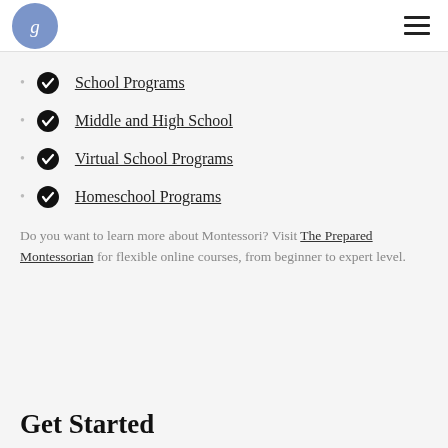g [logo] [hamburger menu]
School Programs
Middle and High School
Virtual School Programs
Homeschool Programs
Do you want to learn more about Montessori? Visit The Prepared Montessorian for flexible online courses, from beginner to expert level.
Get Started